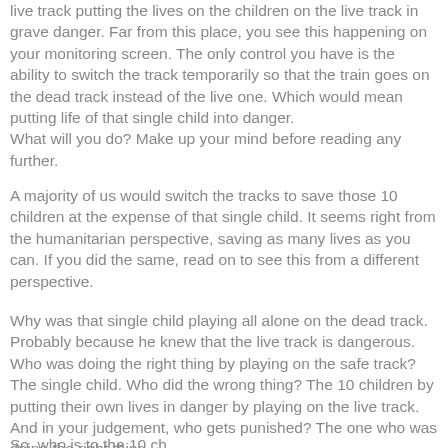live track putting the lives on the children on the live track in grave danger. Far from this place, you see this happening on your monitoring screen. The only control you have is the ability to switch the track temporarily so that the train goes on the dead track instead of the live one. Which would mean putting life of that single child into danger.
What will you do? Make up your mind before reading any further.
A majority of us would switch the tracks to save those 10 children at the expense of that single child. It seems right from the humanitarian perspective, saving as many lives as you can. If you did the same, read on to see this from a different perspective.
Why was that single child playing all alone on the dead track. Probably because he knew that the live track is dangerous. Who was doing the right thing by playing on the safe track? The single child. Who did the wrong thing? The 10 children by putting their own lives in danger by playing on the live track. And in your judgement, who gets punished? The one who was doing the right thing.
So, who is to the 10 ch...